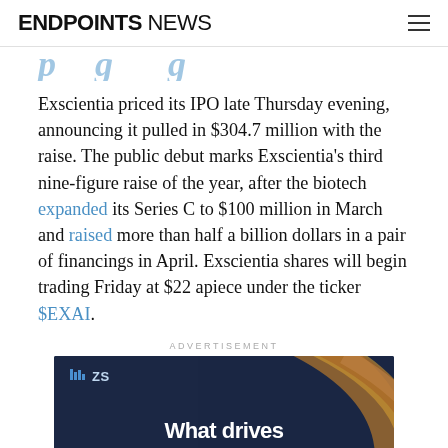ENDPOINTS NEWS
Exscientia priced its IPO late Thursday evening, announcing it pulled in $304.7 million with the raise. The public debut marks Exscientia's third nine-figure raise of the year, after the biotech expanded its Series C to $100 million in March and raised more than half a billion dollars in a pair of financings in April. Exscientia shares will begin trading Friday at $22 apiece under the ticker $EXAI.
ADVERTISEMENT
[Figure (other): ZS advertisement banner with dark blue background, decorative orange/gold arcs, ZS logo top left, and text 'What drives']